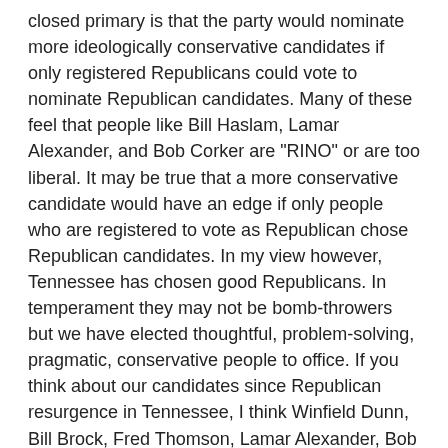closed primary is that the party would nominate more ideologically conservative candidates if only registered Republicans could vote to nominate Republican candidates. Many of these feel that people like Bill Haslam, Lamar Alexander, and Bob Corker are "RINO" or are too liberal. It may be true that a more conservative candidate would have an edge if only people who are registered to vote as Republican chose Republican candidates. In my view however, Tennessee has chosen good Republicans. In temperament they may not be bomb-throwers but we have elected thoughtful, problem-solving, pragmatic, conservative people to office. If you think about our candidates since Republican resurgence in Tennessee, I think Winfield Dunn, Bill Brock, Fred Thomson, Lamar Alexander, Bob Corker, and Marsha Blackburn have been good candidates and the people we needed at the time. I don't think a closed primary would have produced better candidates.
I favor keeping the system of open primaries we have now, simply because it has served us well. Republicans hold the governor's office, seven of nine seats in the U.S. House of Representatives, 73 of 99 seats in the State House and 28 of